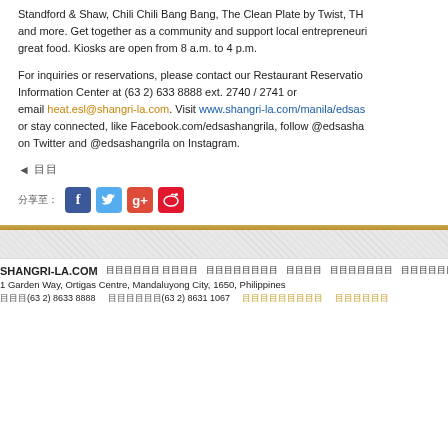Standford & Shaw, Chili Chili Bang Bang, The Clean Plate by Twist, TH and more. Get together as a community and support local entrepreneurs great food. Kiosks are open from 8 a.m. to 4 p.m.
For inquiries or reservations, please contact our Restaurant Reservation Information Center at (63 2) 633 8888 ext. 2740 / 2741 or email heat.esl@shangri-la.com. Visit www.shangri-la.com/manila/edsas or stay connected, like Facebook.com/edsashangrila, follow @edsasha on Twitter and @edsashangrila on Instagram.
◄ 目目
分享至: [Facebook] [Twitter] [Google+] [Weibo]
SHANGRI-LA.COM | 目目目目目 目目目目 | 目目目目目目目目 | 目目目目 | 目目目目目目目 | 目目目目目目目目 | 1 Garden Way, Ortigas Centre, Mandaluyong City, 1650, Philippines | 目目目(63 2) 8633 8888 | 目目目目目目(63 2) 8631 1067 | 目目目目目目目目目 | 目目目目目目